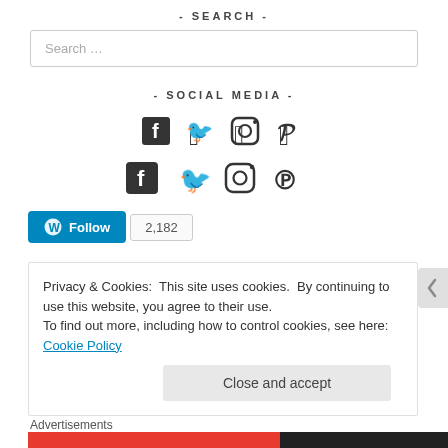- SEARCH -
Search …
- SOCIAL MEDIA -
[Figure (infographic): Social media icons: Facebook, Twitter, Instagram, Pinterest]
[Figure (infographic): WordPress Follow button with follower count 2,182]
- MY TINY OBSESSIONS -
Privacy & Cookies: This site uses cookies. By continuing to use this website, you agree to their use.
To find out more, including how to control cookies, see here: Cookie Policy
Close and accept
Advertisements